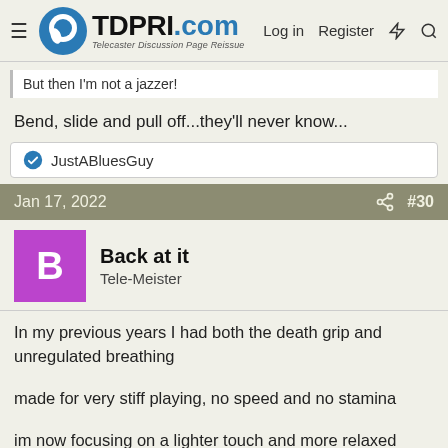TDPRI.com — Telecaster Discussion Page Reissue | Log in | Register
But then I'm not a jazzer!
Bend, slide and pull off...they'll never know...
👍 JustABluesGuy
Jan 17, 2022   #30
Back at it
Tele-Meister
In my previous years I had both the death grip and unregulated breathing
made for very stiff playing, no speed and no stamina
im now focusing on a lighter touch and more relaxed breathing… helps in every way
without the death grip staying in tune is much easier and my